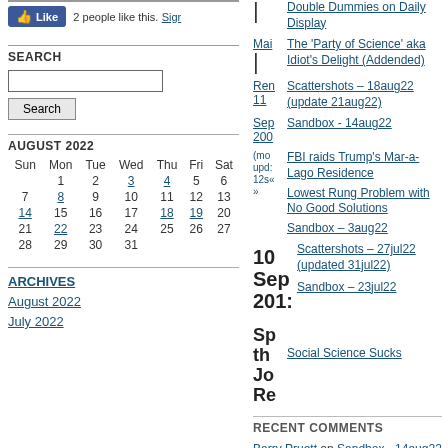[Figure (other): Facebook Like button showing 2 people like this, with Sign link]
SEARCH
Search input box and Search button
AUGUST 2022
| Sun | Mon | Tue | Wed | Thu | Fri | Sat |
| --- | --- | --- | --- | --- | --- | --- |
|  | 1 | 2 | 3 | 4 | 5 | 6 |
| 7 | 8 | 9 | 10 | 11 | 12 | 13 |
| 14 | 15 | 16 | 17 | 18 | 19 | 20 |
| 21 | 22 | 23 | 24 | 25 | 26 | 27 |
| 28 | 29 | 30 | 31 |  |  |  |
ARCHIVES
August 2022
July 2022
Double Dummies on Daily Display
The 'Party of Science' aka Idiot's Delight (Addended)
Scattershots – 18aug22 (update 21aug22)
Sandbox - 14aug22
FBI raids Trump's Mar-a-Lago Residence
Lowest Rung Problem with No Good Solutions
Sandbox – 3aug22
Scattershots – 27jul22 (updated 31jul22)
Sandbox – 23jul22
Social Science Sucks
RECENT COMMENTS
Barry Pruett on Sandbox - 14aug22
Don Bessee on FBI raids Trump's Mar-a-Lago Residence
Don Bessee on Sandbox - 14aug22